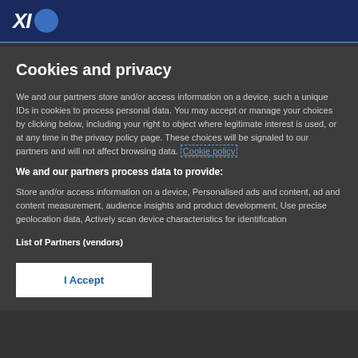logo area
Cookies and privacy
We and our partners store and/or access information on a device, such a unique IDs in cookies to process personal data. You may accept or manage your choices by clicking below, including your right to object where legitimate interest is used, or at any time in the privacy policy page. These choices will be signaled to our partners and will not affect browsing data. Cookie policy
We and our partners process data to provide:
Store and/or access information on a device, Personalised ads and content, ad and content measurement, audience insights and product development, Use precise geolocation data, Actively scan device characteristics for identification
List of Partners (vendors)
I Accept